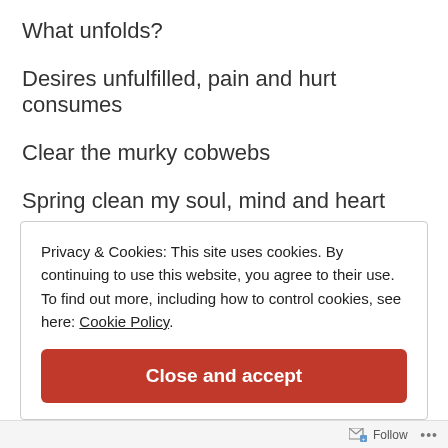What unfolds?
Desires unfulfilled, pain and hurt consumes
Clear the murky cobwebs
Spring clean my soul, mind and heart
Make way for the gift of abundance from
Privacy & Cookies: This site uses cookies. By continuing to use this website, you agree to their use. To find out more, including how to control cookies, see here: Cookie Policy
Close and accept
Follow ...